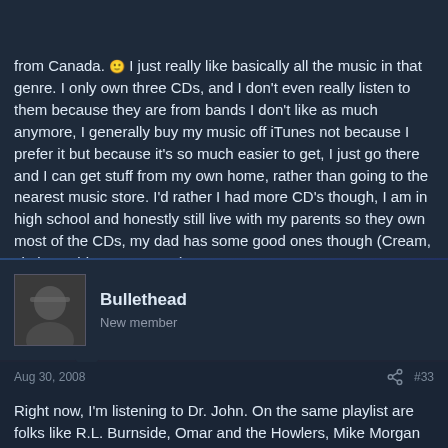Log in   Register
from Canada. I just really like basically all the music in that genre. I only own three CDs, and I don't even really listen to them because they are from bands I don't like as much anymore, I generally buy my music off iTunes not because I prefer it but because it's so much easier to get, I just go there and I can get stuff from my own home, rather than going to the nearest music store. I'd rather I had more CD's though, I am in high school and honestly still live with my parents so they own most of the CDs, my dad has some good ones though (Cream, Jimi Hendrix, ZZ Top etc.).
Bullethead
New member
Aug 30, 2008
#33
Right now, I'm listening to Dr. John. On the same playlist are folks like R.L. Burnside, Omar and the Howlers, Mike Morgan and the Crawl, Hounddog Taylor, Roy Buchanan, Keb' Mo', The Homemand Jamz Blues Band, The Phantom Blues Band, Chris Thomas King, Rona Chubby, Eddie Shaw, Elmore James